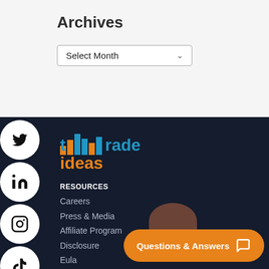Archives
[Figure (screenshot): Dropdown selector labeled 'Select Month']
[Figure (logo): Trade Ideas logo with bar chart icon, 'trade' in blue and 'ideas' in orange]
RESOURCES
Careers
Press & Media
Affiliate Program
Disclosure
Eula
[Figure (infographic): Orange 'Questions & Answers' button with chat icon]